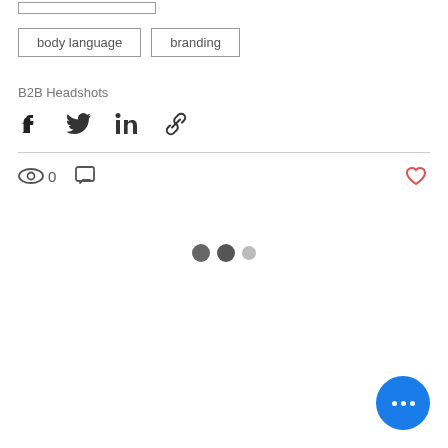[Figure (screenshot): UI tag/chip buttons: one partial tag at top, then 'body language' and 'branding' tag boxes]
B2B Headshots
[Figure (infographic): Social share icons row: Facebook, Twitter, LinkedIn, Link/chain icon]
[Figure (infographic): Post stats row: eye icon with count 0, comment icon, heart/like icon on right]
[Figure (infographic): Loading indicator: two dark dots and one light dot]
[Figure (infographic): Blue circular floating action button with three white dots (more options)]